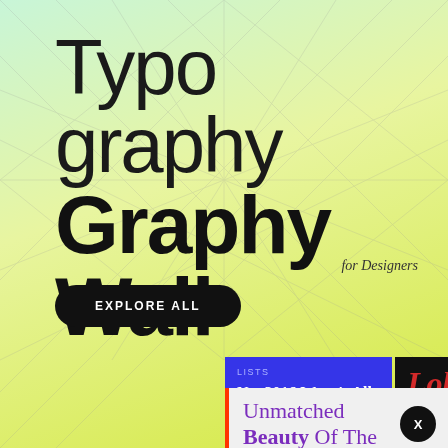Typo Graphy Wall for Designers
EXPLORE ALL
[Figure (screenshot): Blue card with LISTS tag and headline: No, 2016 Wasn't All Terrible: Bright Moments]
[Figure (screenshot): Dark card with Lobste logo in red italic script, second line heading text, and body text]
[Figure (screenshot): Light grey card with orange/red left border showing text: Unmatched Beauty Of The...]